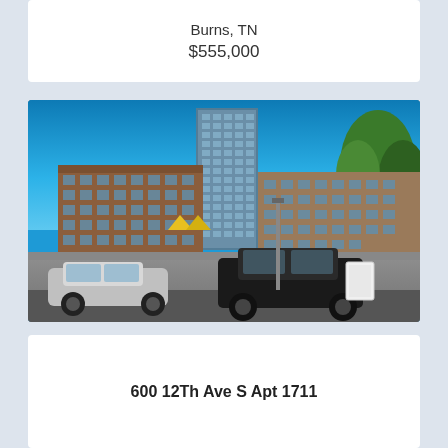Burns, TN
$555,000
[Figure (photo): Exterior photo of a tall modern high-rise condominium tower with brick and glass facade, surrounded by lower mixed-use buildings, cars parked in foreground, blue sky, urban streetscape]
600 12Th Ave S Apt 1711